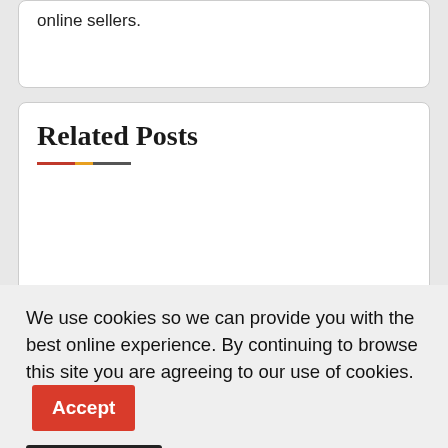online sellers.
Related Posts
We use cookies so we can provide you with the best online experience. By continuing to browse this site you are agreeing to our use of cookies.
Is Crypto on your radar? PayPal lowers rates
FARFETCH acquire 47.5% YNAP stake